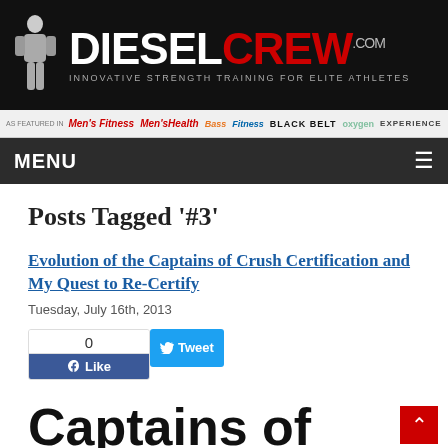DIESELCREW.COM — INNOVATIVE STRENGTH TRAINING FOR ELITE ATHLETES
AS FEATURED IN Men's Fitness MensHealth Bass Fitness BLACK BELT oxygen EXPERIENCE MUSCLE
MENU
Posts Tagged '#3'
Evolution of the Captains of Crush Certification and My Quest to Re-Certify
Tuesday, July 16th, 2013
Captains of Crush Certification